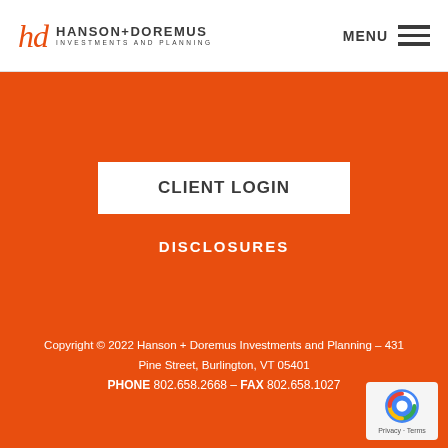hd HANSON+DOREMUS INVESTMENTS AND PLANNING — MENU
CLIENT LOGIN
DISCLOSURES
Copyright © 2022 Hanson + Doremus Investments and Planning – 431 Pine Street, Burlington, VT 05401 PHONE 802.658.2668 – FAX 802.658.1027